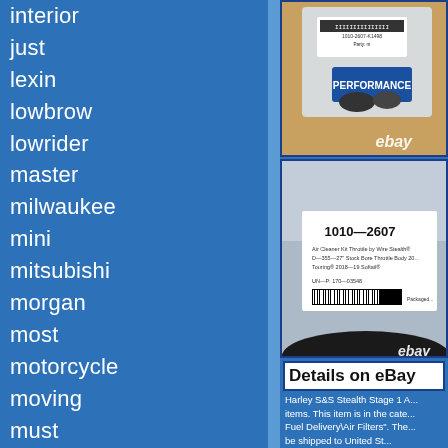interior
just
lexin
lowbrow
lowrider
master
milwaukee
mini
mitsubishi
morgan
most
motorcycle
moving
must
myth
nest
never
[Figure (photo): Product photo showing a packaged automotive/motorcycle part with eBay watermark, top image]
[Figure (photo): Product photo showing a label for part 1010-2607 Air Cleaner Kit with barcode and eBay watermark]
Details on eBay
Harley S&S Stealth Stage 1 A... items. This item is in the cate... Fuel Delivery\Air Filters". The... be shipped to United St...